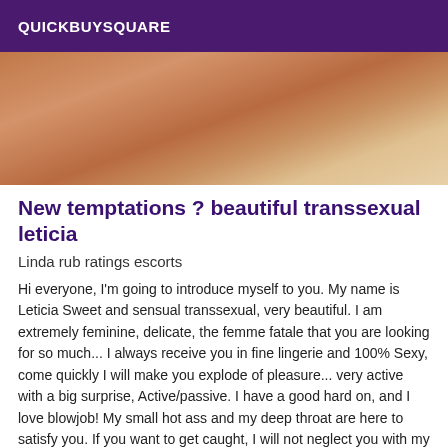QUICKBUYSQUARE
[Figure (photo): Close-up photo of a person's body, warm skin tones against light fabric background]
New temptations ? beautiful transsexual leticia
Linda rub ratings escorts
Hi everyone, I'm going to introduce myself to you. My name is Leticia Sweet and sensual transsexual, very beautiful. I am extremely feminine, delicate, the femme fatale that you are looking for so much... I always receive you in fine lingerie and 100% Sexy, come quickly I will make you explode of pleasure... very active with a big surprise, Active/passive. I have a good hard on, and I love blowjob! My small hot ass and my deep throat are here to satisfy you. If you want to get caught, I will not neglect you with my big clitoris or with my dildo, it never